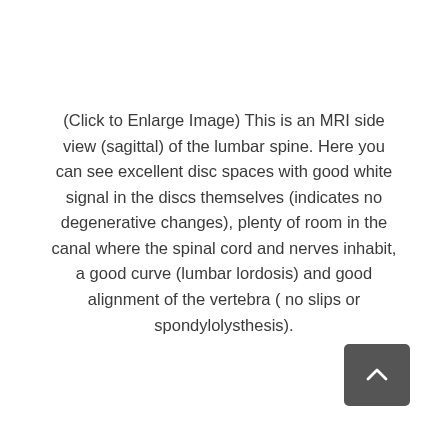(Click to Enlarge Image) This is an MRI side view (sagittal) of the lumbar spine. Here you can see excellent disc spaces with good white signal in the discs themselves (indicates no degenerative changes), plenty of room in the canal where the spinal cord and nerves inhabit, a good curve (lumbar lordosis) and good alignment of the vertebra ( no slips or spondylolysthesis).